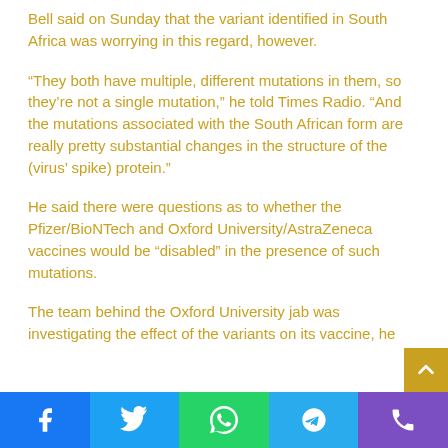Bell said on Sunday that the variant identified in South Africa was worrying in this regard, however.
“They both have multiple, different mutations in them, so they’re not a single mutation,” he told Times Radio. “And the mutations associated with the South African form are really pretty substantial changes in the structure of the (virus’ spike) protein.”
He said there were questions as to whether the Pfizer/BioNTech and Oxford University/AstraZeneca vaccines would be “disabled” in the presence of such mutations.
The team behind the Oxford University jab was investigating the effect of the variants on its vaccine, he
Facebook | Twitter | WhatsApp | Telegram | Phone